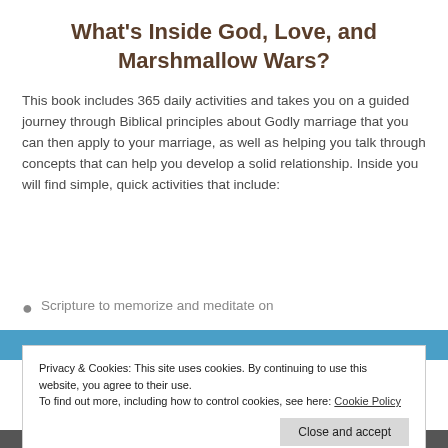What's Inside God, Love, and Marshmallow Wars?
This book includes 365 daily activities and takes you on a guided journey through Biblical principles about Godly marriage that you can then apply to your marriage, as well as helping you talk through concepts that can help you develop a solid relationship. Inside you will find simple, quick activities that include:
Scripture to memorize and meditate on
Privacy & Cookies: This site uses cookies. By continuing to use this website, you agree to their use.
To find out more, including how to control cookies, see here: Cookie Policy
Close and accept